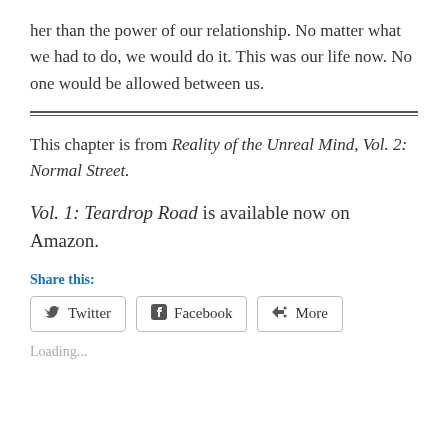her than the power of our relationship. No matter what we had to do, we would do it. This was our life now. No one would be allowed between us.
This chapter is from Reality of the Unreal Mind, Vol. 2: Normal Street.
Vol. 1: Teardrop Road is available now on Amazon.
Share this:
Twitter  Facebook  More
Loading...